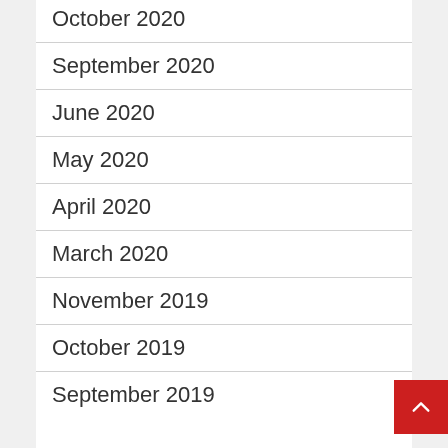October 2020
September 2020
June 2020
May 2020
April 2020
March 2020
November 2019
October 2019
September 2019